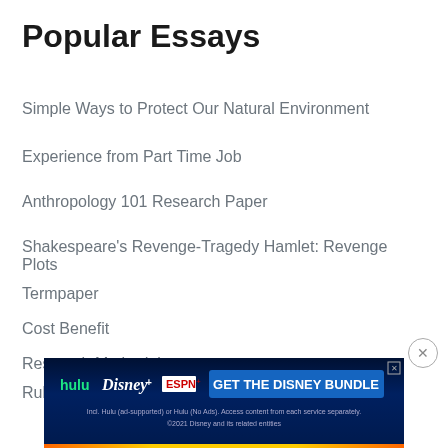Popular Essays
Simple Ways to Protect Our Natural Environment
Experience from Part Time Job
Anthropology 101 Research Paper
Shakespeare's Revenge-Tragedy Hamlet: Revenge Plots
Termpaper
Cost Benefit
Research Methodology
Ruby Moon
[Figure (screenshot): Disney Bundle advertisement banner showing Hulu, Disney+, and ESPN+ logos with 'GET THE DISNEY BUNDLE' call-to-action button and fine print text.]